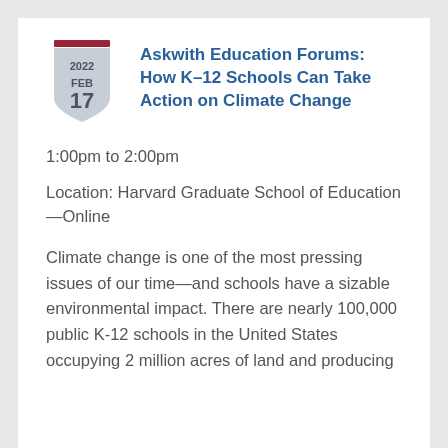Askwith Education Forums: How K–12 Schools Can Take Action on Climate Change
1:00pm to 2:00pm
Location: Harvard Graduate School of Education—Online
Climate change is one of the most pressing issues of our time—and schools have a sizable environmental impact. There are nearly 100,000 public K-12 schools in the United States occupying 2 million acres of land and producing